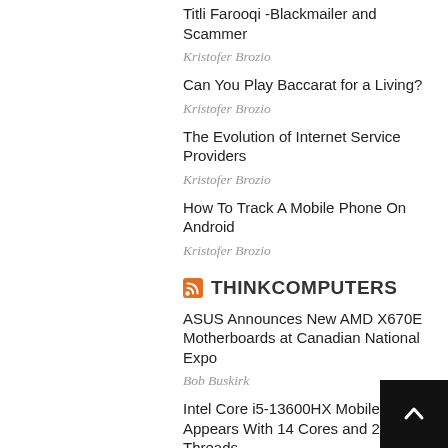Titli Farooqi -Blackmailer and Scammer
Kristofer Brozio
Can You Play Baccarat for a Living?
Kristofer Brozio
The Evolution of Internet Service Providers
Kristofer Brozio
How To Track A Mobile Phone On Android
Kristofer Brozio
THINKCOMPUTERS
ASUS Announces New AMD X670E Motherboards at Canadian National Expo
Bob Buskirk
Intel Core i5-13600HX Mobile CPU Appears With 14 Cores and 20 Threads
Ahmed Humayun
Alienware Introduces 24.5-Inch 1080p 360 Hz and 27-Inch 1440p 280 Hz Gaming Monitors